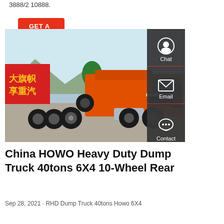3888/2 10888.
GET A QUOTE
[Figure (photo): Orange HOWO heavy duty dump/tractor truck parked in a yard with mountains and a red banner with Chinese text in the background. Sidebar with Chat, Email, and Contact icons on the right.]
China HOWO Heavy Duty Dump Truck 40tons 6X4 10-Wheel Rear
Sep 28, 2021 · RHD Dump Truck 40tons Howo 6X4